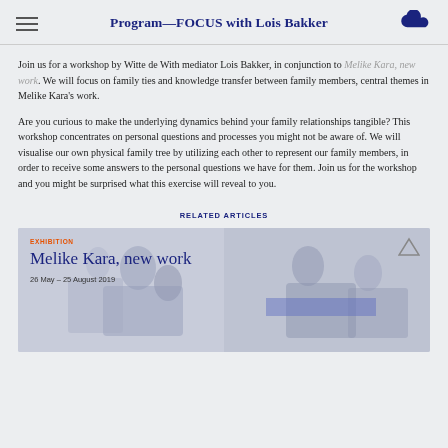Program—FOCUS with Lois Bakker
Join us for a workshop by Witte de With mediator Lois Bakker, in conjunction to Melike Kara, new work. We will focus on family ties and knowledge transfer between family members, central themes in Melike Kara's work.
Are you curious to make the underlying dynamics behind your family relationships tangible? This workshop concentrates on personal questions and processes you might not be aware of. We will visualise our own physical family tree by utilizing each other to represent our family members, in order to receive some answers to the personal questions we have for them. Join us for the workshop and you might be surprised what this exercise will reveal to you.
RELATED ARTICLES
[Figure (other): Exhibition card for Melike Kara, new work. Shows artwork images in muted blue-grey tones with text: EXHIBITION, Melike Kara, new work, 26 May – 25 August 2019]